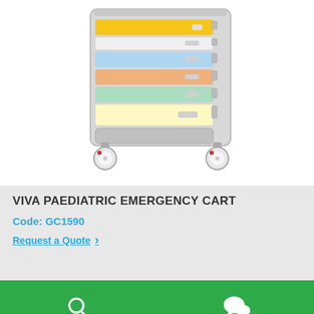[Figure (photo): Viva Paediatric Emergency Cart with colorful drawers (yellow, white/gray, blue, orange, green, light yellow) on white wheels/casters]
VIVA PAEDIATRIC EMERGENCY CART
Code: GC1590
Request a Quote
[Figure (infographic): Green footer bar with Product Finder (magnifying glass icon) and Enquire (chat bubble icon) buttons]